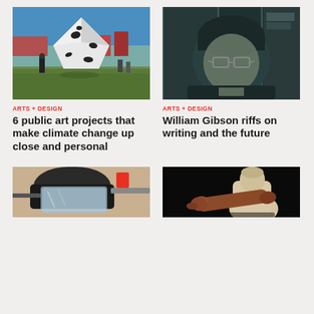[Figure (photo): Large white faceted geometric sculpture in an overgrown outdoor area near a waterfront, with people standing nearby]
ARTS + DESIGN
6 public art projects that make climate change up close and personal
[Figure (photo): Close-up portrait of William Gibson wearing a dark beanie and glasses, in a dark urban setting]
ARTS + DESIGN
William Gibson riffs on writing and the future
[Figure (photo): Person wearing a helmet and face shield visor, close-up view]
[Figure (photo): Ancient statue of a boxer or athlete with a dark bronze arm against a dark background]